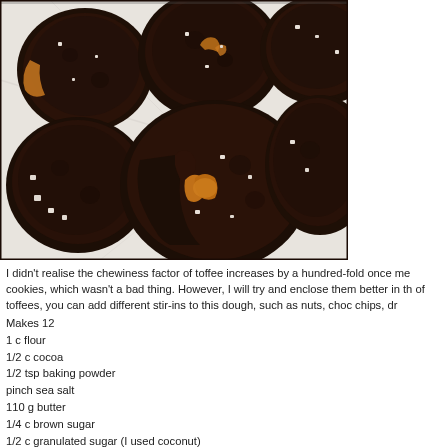[Figure (photo): Photograph of dark chocolate toffee cookies on a white marble surface. The cookies are round, deeply dark brown/chocolate colored, with caramel toffee oozing out and coarse salt crystals on top. One cookie is broken in half showing the gooey caramel center.]
I didn't realise the chewiness factor of toffee increases by a hundred-fold once me cookies, which wasn't a bad thing. However, I will try and enclose them better in th of toffees, you can add different stir-ins to this dough, such as nuts, choc chips, dr
Makes 12
1 c flour
1/2 c cocoa
1/2 tsp baking powder
pinch sea salt
110 g butter
1/4 c brown sugar
1/2 c granulated sugar (I used coconut)
1 egg